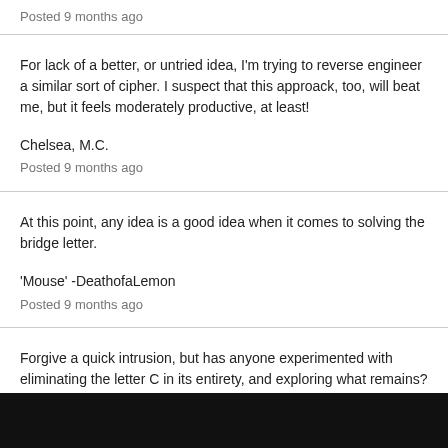Posted 9 months ago
For lack of a better, or untried idea, I'm trying to reverse engineer a similar sort of cipher. I suspect that this approack, too, will beat me, but it feels moderately productive, at least!
Chelsea, M.C.
Posted 9 months ago
At this point, any idea is a good idea when it comes to solving the bridge letter.
'Mouse' -DeathofaLemon
Posted 9 months ago
Forgive a quick intrusion, but has anyone experimented with eliminating the letter C in its entirety, and exploring what remains? If the letter C, once all